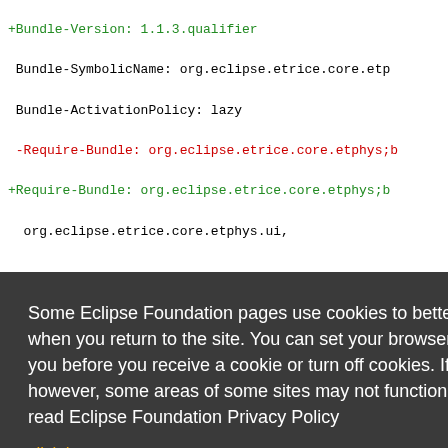+Bundle-Version: 1.1.3.qualifier
 Bundle-SymbolicName: org.eclipse.etrice.core.etp
 Bundle-ActivationPolicy: lazy
-Require-Bundle: org.eclipse.etrice.core.etphys;b
+Require-Bundle: org.eclipse.etrice.core.etphys;b
 org.eclipse.etrice.core.etphys.ui,
n="2.6.0"
re.fsm.te
tests/MET
tests/MET
Some Eclipse Foundation pages use cookies to better serve you when you return to the site. You can set your browser to notify you before you receive a cookie or turn off cookies. If you do so, however, some areas of some sites may not function properly. To read Eclipse Foundation Privacy Policy click here.
.core.fsm
.common,
diff --git a/tests/org.eclipse.etrice.core.genmo
index 60d1adacf..fd0ad5041 100644...